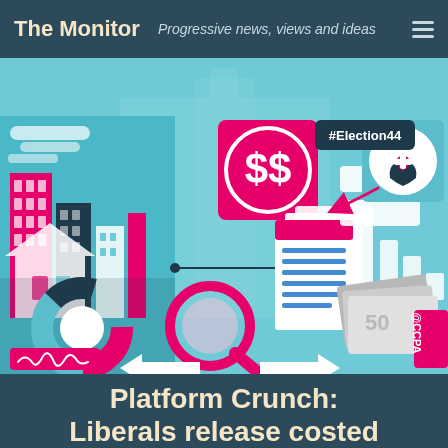The Monitor — Progressive news, views and ideas
[Figure (illustration): Colorful infographic illustration with icons related to election platform analysis: buildings, dollar signs, a donut chart, a magnifying glass, documents with blue lines, a bar chart, a healthcare icon with hands holding a heart, Canadian $50 bills, arrows, and a signature. Includes text '#Election44' in a dark badge and '@CCPA' in a pink badge. Background features a faded Parliament building image.]
Platform Crunch: Liberals release costed platform